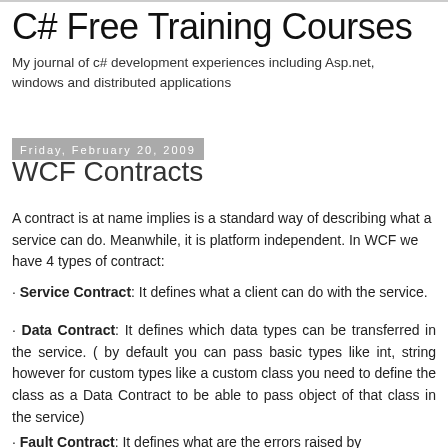C# Free Training Courses
My journal of c# development experiences including Asp.net, windows and distributed applications
Friday, February 20, 2009
WCF Contracts
A contract is at name implies is a standard way of describing what a service can do. Meanwhile, it is platform independent. In WCF we have 4 types of contract:
Service Contract: It defines what a client can do with the service.
Data Contract: It defines which data types can be transferred in the service. ( by default you can pass basic types like int, string however for custom types like a custom class you need to define the class as a Data Contract to be able to pass object of that class in the service)
Fault Contract: It defines what are the errors raised by